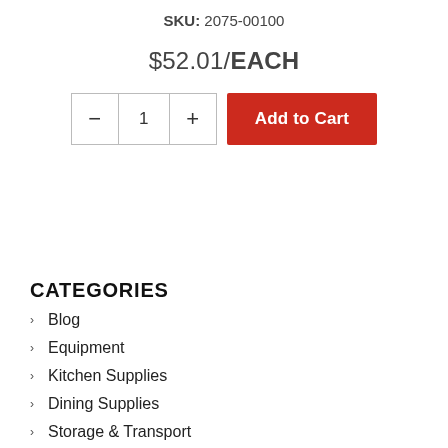SKU: 2075-00100
$52.01/EACH
[Figure (screenshot): Quantity selector with minus button, quantity field showing 1, plus button, and red Add to Cart button]
CATEGORIES
Blog
Equipment
Kitchen Supplies
Dining Supplies
Storage & Transport